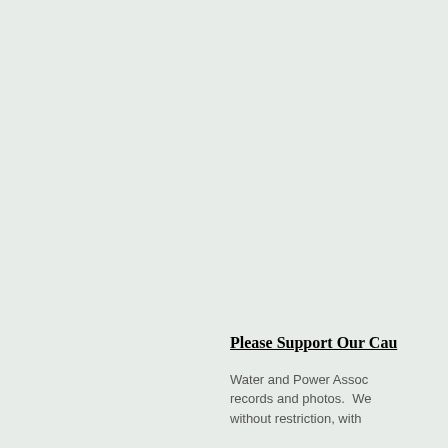Please Support Our Cau
Water and Power Assoc records and photos.  We without restriction, with